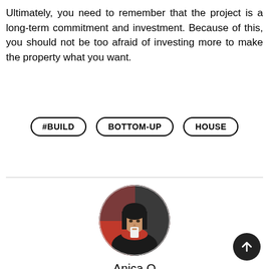Ultimately, you need to remember that the project is a long-term commitment and investment. Because of this, you should not be too afraid of investing more to make the property what you want.
#BUILD
BOTTOM-UP
HOUSE
[Figure (photo): Circular profile photo of author Anica O, a young woman drinking from a cup, wearing a dark outfit and red scarf]
Anica O